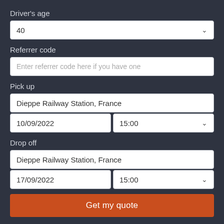Driver's age
40
Referrer code
Enter referrer code here if you have one
Pick up
Dieppe Railway Station, France
10/09/2022
15:00
Drop off
Dieppe Railway Station, France
17/09/2022
15:00
Get my quote